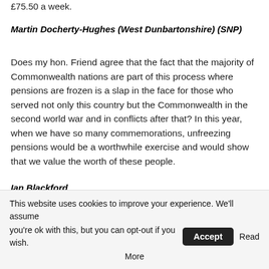£75.50 a week.
Martin Docherty-Hughes (West Dunbartonshire) (SNP)
Does my hon. Friend agree that the fact that the majority of Commonwealth nations are part of this process where pensions are frozen is a slap in the face for those who served not only this country but the Commonwealth in the second world war and in conflicts after that? In this year, when we have so many commemorations, unfreezing pensions would be a worthwhile exercise and would show that we value the worth of these people.
Ian Blackford
Absolutely. We owe a debt of gratitude to these people, and we
This website uses cookies to improve your experience. We'll assume you're ok with this, but you can opt-out if you wish. Accept Read More